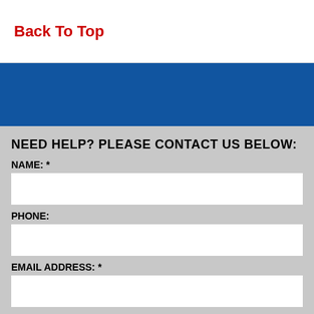Back To Top
NEED HELP? PLEASE CONTACT US BELOW:
NAME: *
PHONE:
EMAIL ADDRESS: *
COMPANY NAME: